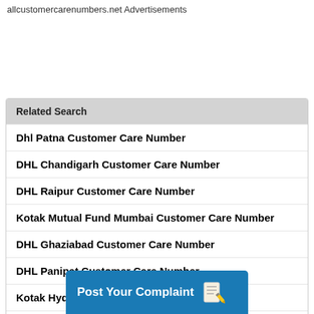allcustomercarenumbers.net Advertisements
Related Search
Dhl Patna Customer Care Number
DHL Chandigarh Customer Care Number
DHL Raipur Customer Care Number
Kotak Mutual Fund Mumbai Customer Care Number
DHL Ghaziabad Customer Care Number
DHL Panipat Customer Care Number
Kotak Hyderabad Customer Care Number
Kotak Life Insurance India Customer Care Number
Kotak Mahindra Customer Care Number
[Figure (other): Post Your Complaint button banner with pencil/notepad icon]